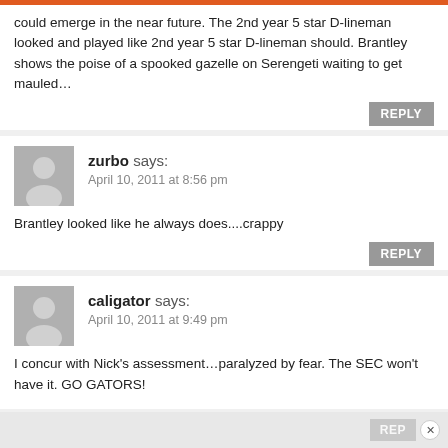could emerge in the near future. The 2nd year 5 star D-lineman looked and played like 2nd year 5 star D-lineman should. Brantley shows the poise of a spooked gazelle on Serengeti waiting to get mauled…
zurbo says: April 10, 2011 at 8:56 pm
Brantley looked like he always does....crappy
caligator says: April 10, 2011 at 9:49 pm
I concur with Nick's assessment…paralyzed by fear. The SEC won't have it. GO GATORS!